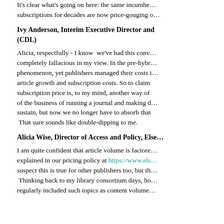It's clear what's going on here: the same incumbents who've held our subscriptions for decades are now price-gouging o…
Ivy Anderson, Interim Executive Director and … (CDL)
Alicia, respectfully - I know we've had this conv… completely fallacious in my view. In the pre-hybr… phenomenon, yet publishers managed their costs i… article growth and subscription costs. So to claim subscription price is, to my mind, another way of of the business of running a journal and making d… sustain, but now we no longer have to absorb that  That sure sounds like double-dipping to me.
Alicia Wise, Director of Access and Policy, Else…
I am quite confident that article volume is factore… explained in our pricing policy at https://www.els… suspect this is true for other publishers too, but th…  Thinking back to my library consortium days, ho… regularly included such topics as content volume…